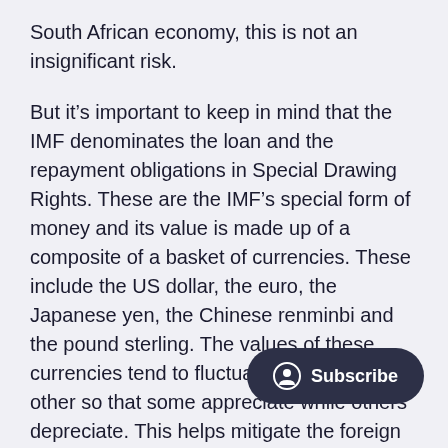South African economy, this is not an insignificant risk.
But it's important to keep in mind that the IMF denominates the loan and the repayment obligations in Special Drawing Rights. These are the IMF's special form of money and its value is made up of a composite of a basket of currencies. These include the US dollar, the euro, the Japanese yen, the Chinese renminbi and the pound sterling. The values of these currencies tend to fluctuate against each other so that some appreciate while others depreciate. This helps mitigate the foreign exchange risk South Africa must bear.